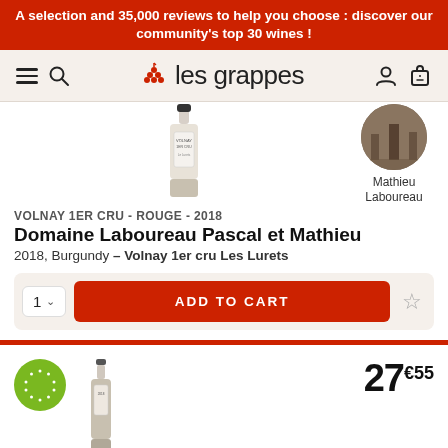A selection and 35,000 reviews to help you choose : discover our community's top 30 wines !
[Figure (logo): Les Grappes logo with hamburger menu, search icon, grape cluster icon, user and cart icons]
[Figure (photo): Wine bottle for Volnay 1er Cru 2018 and circular producer photo of Mathieu Laboureau]
VOLNAY 1ER CRU - ROUGE - 2018
Domaine Laboureau Pascal et Mathieu
2018, Burgundy – Volnay 1er cru Les Lurets
1 ADD TO CART
[Figure (photo): Second wine product: organic badge (green circle with stars), wine bottle image, price 27€55]
27€55